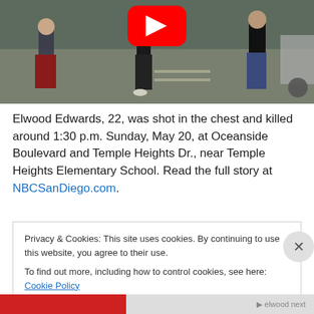[Figure (screenshot): YouTube video thumbnail showing people in a parking lot. A red YouTube play button icon is centered at the top. Three people are visible mid-motion on pavement, one wearing red pants, one in black, one in jeans. A car is partially visible on the right.]
Elwood Edwards, 22, was shot in the chest and killed around 1:30 p.m. Sunday, May 20, at Oceanside Boulevard and Temple Heights Dr., near Temple Heights Elementary School. Read the full story at NBCSanDiego.com.
Privacy & Cookies: This site uses cookies. By continuing to use this website, you agree to their use.
To find out more, including how to control cookies, see here: Cookie Policy
Close and accept